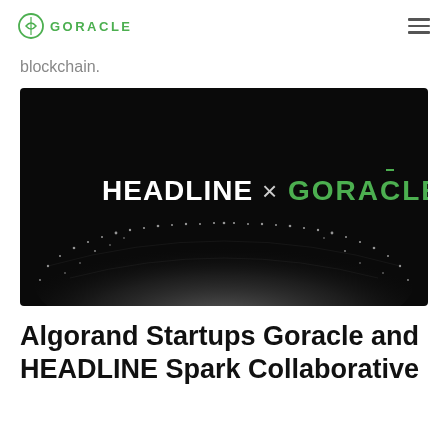GORACLE
blockchain.
[Figure (illustration): Dark background banner image showing HEADLINE × GORACLE logos with glowing particle arc on black background]
Algorand Startups Goracle and HEADLINE Spark Collaborative